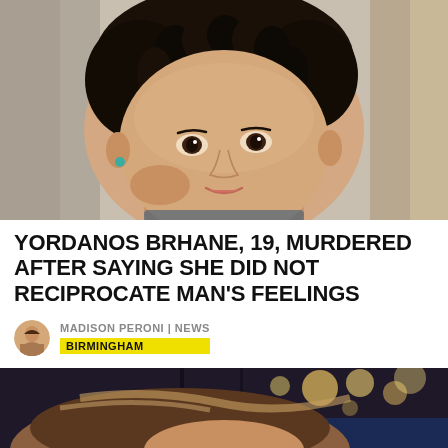[Figure (photo): Close-up photo of Yordanos Brhane, a young woman with braided hair, smiling slightly, wearing a teal earring, against a blurred background.]
YORDANOS BRHANE, 19, MURDERED AFTER SAYING SHE DID NOT RECIPROCATE MAN'S FEELINGS
MADISON PERONI | NEWS
BIRMINGHAM
[Figure (photo): Partial photo of another woman (likely Yordanos Brhane) in a restaurant or bar setting with warm lights in the background.]